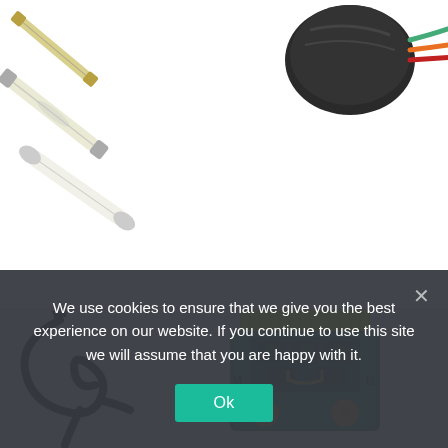[Figure (photo): Top section showing automotive/motorcycle electrical components: fuse/bulb elements on the left side and a black wiring harness connector on the upper right with colored wires.]
[Figure (photo): Lower section showing a green starter solenoid relay with yellow top and copper terminals, alongside a coiled black cable/wire harness on the left.]
We use cookies to ensure that we give you the best experience on our website. If you continue to use this site we will assume that you are happy with it.